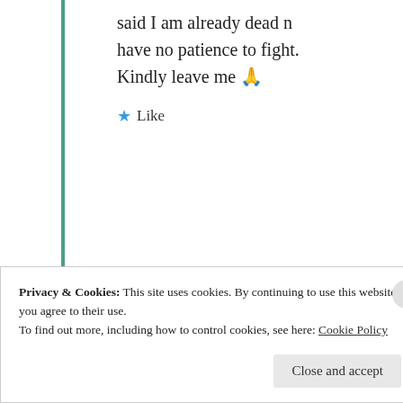said I am already dead n have no patience to fight. Kindly leave me 🙏
★ Like
[Figure (illustration): Circular golden/brown avatar icon with a decorative star/compass rose pattern]
mildredprince welch
11th Jul 2021 at 8:22 am
Privacy & Cookies: This site uses cookies. By continuing to use this website, you agree to their use. To find out more, including how to control cookies, see here: Cookie Policy
Close and accept